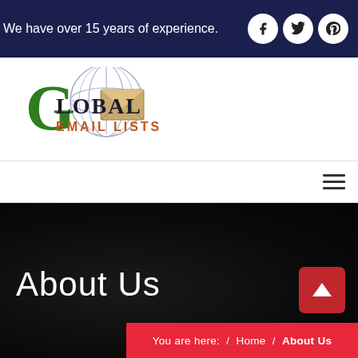We have over 15 years of experience.
[Figure (logo): Global Email Lists logo with green G, globe and envelope icon]
[Figure (other): Hamburger menu icon (three horizontal lines)]
About Us
You are here:  /  Home  /  About Us